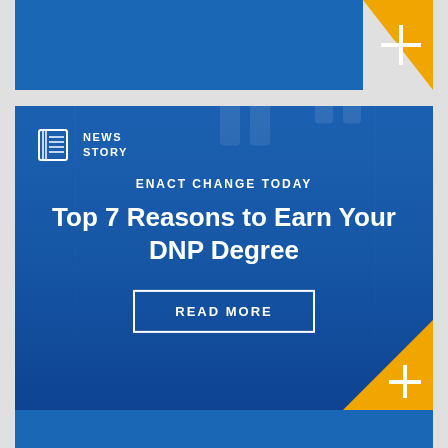[Figure (illustration): Top partial blue card with orange corner accent showing plus sign]
[Figure (illustration): News story banner card with blue overlay on hospital corridor background, two medical professionals walking. Contains NEWS STORY badge, headline 'ENACT CHANGE TODAY / Top 7 Reasons to Earn Your DNP Degree', and READ MORE button. Orange corner accent with plus sign in bottom-right.]
[Figure (illustration): Partial blue card at bottom of page]